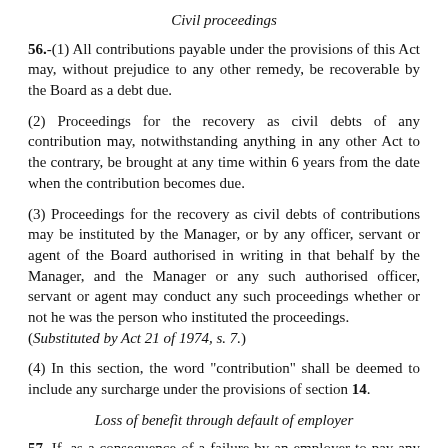Civil proceedings
56.-(1) All contributions payable under the provisions of this Act may, without prejudice to any other remedy, be recoverable by the Board as a debt due.
(2) Proceedings for the recovery as civil debts of any contribution may, notwithstanding anything in any other Act to the contrary, be brought at any time within 6 years from the date when the contribution becomes due.
(3) Proceedings for the recovery as civil debts of contributions may be instituted by the Manager, or by any officer, servant or agent of the Board authorised in writing in that behalf by the Manager, and the Manager or any such authorised officer, servant or agent may conduct any such proceedings whether or not he was the person who instituted the proceedings. (Substituted by Act 21 of 1974, s. 7.)
(4) In this section, the word "contribution" shall be deemed to include any surcharge under the provisions of section 14.
Loss of benefit through default of employer
57. If, as a consequence of a failure by an employer to pay any contribution at the time when such contribution is due, any